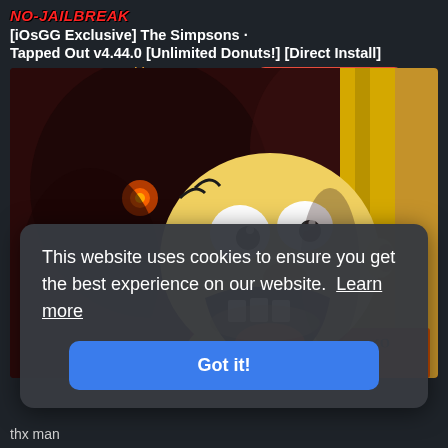NO-JAILBREAK [iOsGG Exclusive] The Simpsons Tapped Out v4.44.0 [Unlimited Donuts!] [Direct Install]
Osamoss replied to 👑 Cz1993's topic in Free Non-Jailbreak Hacks
[Figure (screenshot): Homer Simpson screaming, dark horror-themed background with glowing eyes, yellow door panel visible]
This website uses cookies to ensure you get the best experience on our website.  Learn more
Got it!
thx man